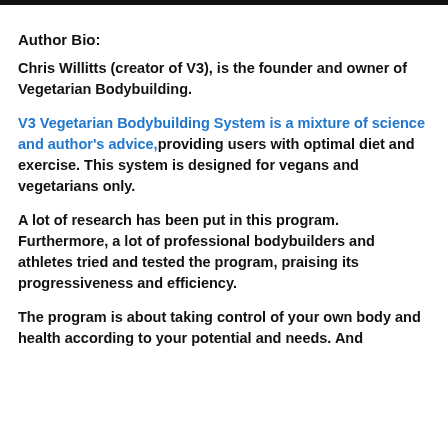Author Bio:
Chris Willitts (creator of V3), is the founder and owner of Vegetarian Bodybuilding.
V3 Vegetarian Bodybuilding System is a mixture of science and author's advice,providing users with optimal diet and exercise. This system is designed for vegans and vegetarians only.
A lot of research has been put in this program. Furthermore, a lot of professional bodybuilders and athletes tried and tested the program, praising its progressiveness and efficiency.
The program is about taking control of your own body and health according to your potential and needs. And